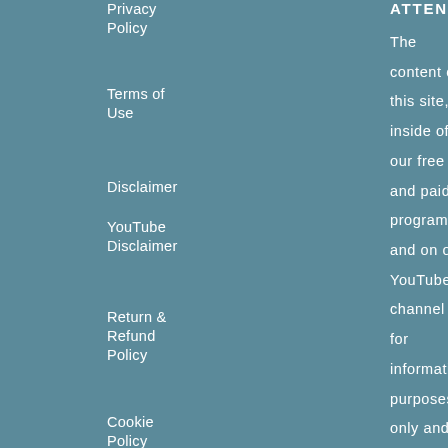Privacy Policy
Terms of Use
Disclaimer
YouTube Disclaimer
Return & Refund Policy
Cookie Policy
ATTENTION
The content on this site, inside of our free and paid programs and on our YouTube channel is for informational purposes only and is not intended as medical advice, or